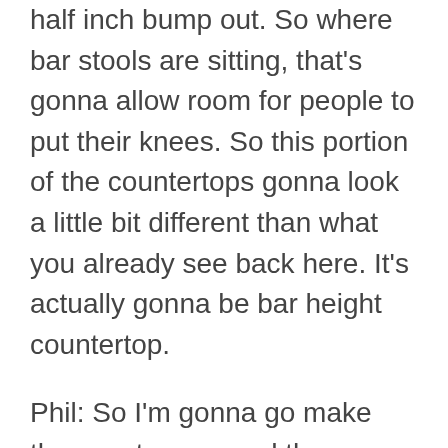half inch bump out. So where bar stools are sitting, that's gonna allow room for people to put their knees. So this portion of the countertops gonna look a little bit different than what you already see back here. It's actually gonna be bar height countertop.
Phil: So I'm gonna go make those cuts now, and then you're gonna see us all bringing that piece in. And once we get it set in place, you're gonna get a really good idea of how this bar is gonna be coming together.
Stan: And while you're doing that, I'm gonna start installing the facade over the grill area